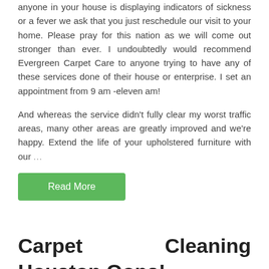anyone in your house is displaying indicators of sickness or a fever we ask that you just reschedule our visit to your home. Please pray for this nation as we will come out stronger than ever. I undoubtedly would recommend Evergreen Carpet Care to anyone trying to have any of these services done of their house or enterprise. I set an appointment from 9 am -eleven am!
And whereas the service didn't fully clear my worst traffic areas, many other areas are greatly improved and we're happy. Extend the life of your upholstered furniture with our ...
Read More
Carpet Cleaning Houston Oops! Steam Cleaning
Author   Carpet Cleaning